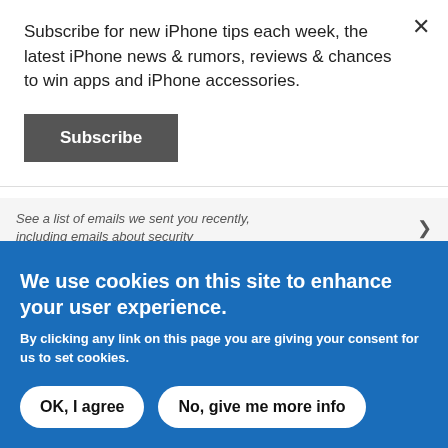Subscribe for new iPhone tips each week, the latest iPhone news & rumors, reviews & chances to win apps and iPhone accessories.
Subscribe
See a list of emails we sent you recently, including emails about security
GET HELP
Learn more about security
We use cookies on this site to enhance your user experience.
By clicking any link on this page you are giving your consent for us to set cookies.
OK, I agree
No, give me more info